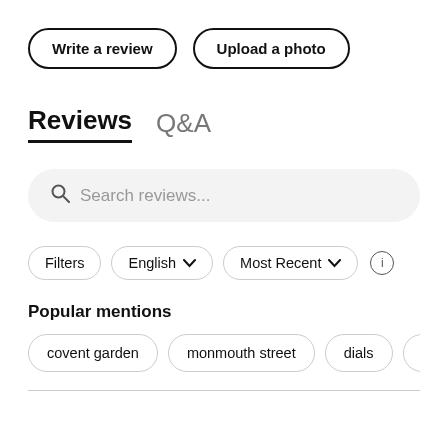Write a review
Upload a photo
Reviews  Q&A
Search reviews...
Filters
English
Most Recent
Popular mentions
covent garden
monmouth street
dials
fairy